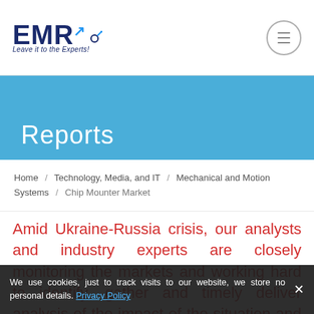EMR - Leave it to the Experts! [logo] [hamburger menu]
Reports
Home / Technology, Media, and IT / Mechanical and Motion Systems / Chip Mounter Market
Amid Ukraine-Russia crisis, our analysts and industry experts are closely monitoring the markets and working hard to identify, gather and timely deliver analysis of the impact of the situation and the impact that it has on the market, before
We use cookies, just to track visits to our website, we store no personal details. Privacy Policy